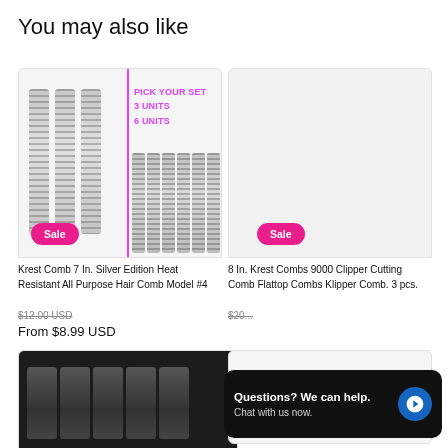You may also like
[Figure (photo): Product image of Krest Comb 7 In. Silver Edition Heat Resistant All Purpose Hair Comb Model #4, showing 3 combs on left side and 6 combs on right side with pink text PICK YOUR SET / 3 UNITS / 6 UNITS, with a Sale badge]
Krest Comb 7 In. Silver Edition Heat Resistant All Purpose Hair Comb Model #4
$12.00 USD
From $8.99 USD
[Figure (photo): Product image of 8 In. Krest Combs 9000 Clipper Cutting Comb Flattop Combs Klipper Comb 3 pcs., with a Sale badge]
8 In. Krest Combs 9000 Clipper Cutting Comb Flattop Combs Klipper Comb. 3 pcs.
$20...
[Figure (photo): Partial product image showing dark hair combs at bottom left]
[Figure (photo): Partial product image at bottom right with heat-resistant badge]
Questions? We can help. Chat with us now.